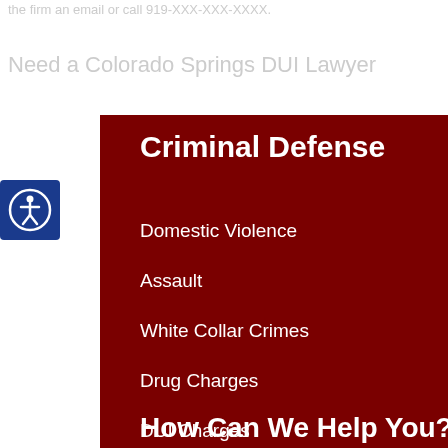the firm an email or call 919-XXX-XXXX.
Need a Colorado Springs DUI Lawyer
[Figure (logo): Accessibility icon button — blue square with white universal accessibility symbol (person in circle)]
Criminal Defense
Domestic Violence
Assault
White Collar Crimes
Drug Charges
DUI Charges
How Can We Help You?